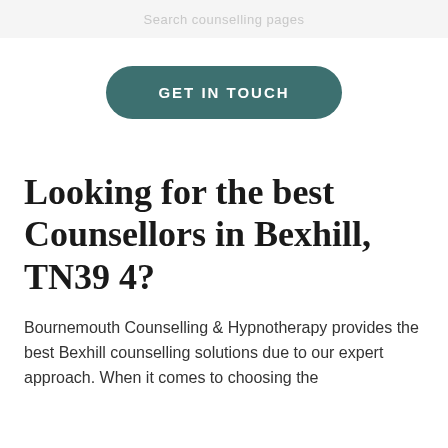Search counselling pages
[Figure (other): GET IN TOUCH button with dark teal rounded pill shape]
Looking for the best Counsellors in Bexhill, TN39 4?
Bournemouth Counselling & Hypnotherapy provides the best Bexhill counselling solutions due to our expert approach. When it comes to choosing the